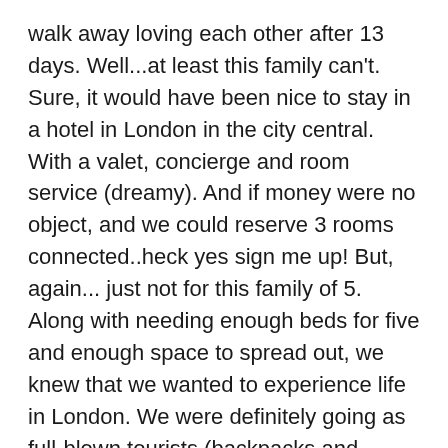walk away loving each other after 13 days. Well...at least this family can't.  Sure, it would have been nice to stay in a hotel in London in the city central. With a valet, concierge and room service (dreamy). And if money were no object, and we could reserve 3 rooms connected..heck yes sign me up! But, again... just not for this family of 5. Along with needing enough beds for five and enough space to spread out, we knew that we wanted to experience life in London. We were definitely going as full-blown tourists (backpacks and maps!), but also we hoped to see what the locals do in their own 'hoods. Airbnb was a natural choice to find our home(s) away from home.  We had a few strategies... find neighborhoods East of the airport, but West of Central London. Why?  Because I had read enough to understand that the underground (think train/subway